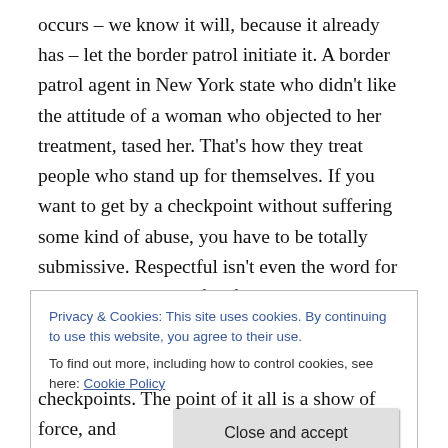occurs – we know it will, because it already has – let the border patrol initiate it. A border patrol agent in New York state who didn't like the attitude of a woman who objected to her treatment, tased her. That's how they treat people who stand up for themselves. If you want to get by a checkpoint without suffering some kind of abuse, you have to be totally submissive. Respectful isn't even the word for it. You better be careful if you even make eye contact.
Let the entire world – Arizona, the Southwest, the United States, North America, and other countries overseas – see
Privacy & Cookies: This site uses cookies. By continuing to use this website, you agree to their use.
To find out more, including how to control cookies, see here: Cookie Policy
checkpoints. The point of it all is a show of force, and